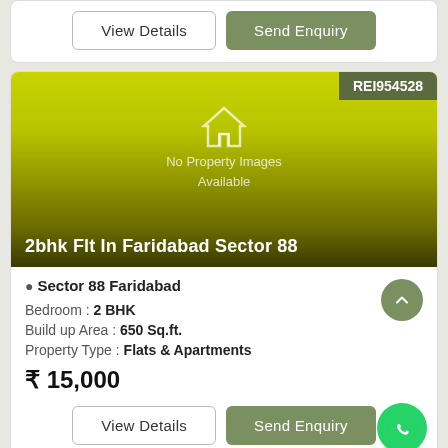[Figure (other): Top card with View Details and Send Enquiry buttons]
[Figure (photo): Property listing image placeholder with yellow-green gradient background, house icon, 'No Property Images Available' text, REI954528 badge, and title '2bhk Flt In Faridabad Sector 88']
Sector 88 Faridabad
Bedroom : 2 BHK
Build up Area : 650 Sq.ft.
Property Type : Flats & Apartments
₹ 15,000